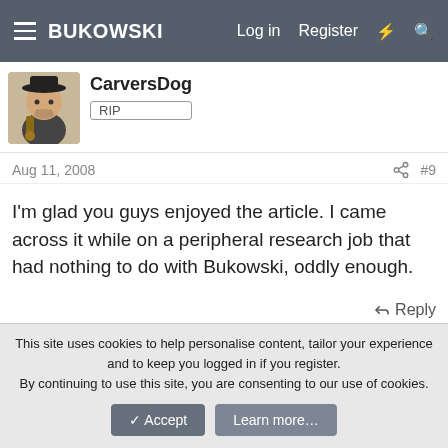BUKOWSKI  Log in  Register
CarversDog
RIP
Aug 11, 2008  #9
I'm glad you guys enjoyed the article. I came across it while on a peripheral research job that had nothing to do with Bukowski, oddly enough.
Reply
Write your reply…
This site uses cookies to help personalise content, tailor your experience and to keep you logged in if you register.
By continuing to use this site, you are consenting to our use of cookies.
Accept  Learn more…